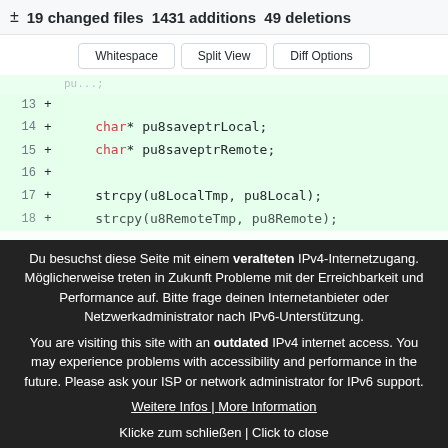± 19 changed files 1431 additions 49 deletions
Whitespace | Split View | Diff Options
[Figure (screenshot): Code diff showing lines 13-18 with green additions background. Lines 14 and 15 show: char* pu8saveptrLocal; and char* pu8saveptrRemote;. Lines 17 and 18 show: strcpy(u8LocalTmp, pu8Local); and strcpy(u8RemoteTmp, pu8Remote);]
Du besuchst diese Seite mit einem veralteten IPv4-Internetzugang. Möglicherweise treten in Zukunft Probleme mit der Erreichbarkeit und Performance auf. Bitte frage deinen Internetanbieter oder Netzwerkadministrator nach IPv6-Unterstützung.
You are visiting this site with an outdated IPv4 internet access. You may experience problems with accessibility and performance in the future. Please ask your ISP or network administrator for IPv6 support.
Weitere Infos | More Information
Klicke zum schließen | Click to close